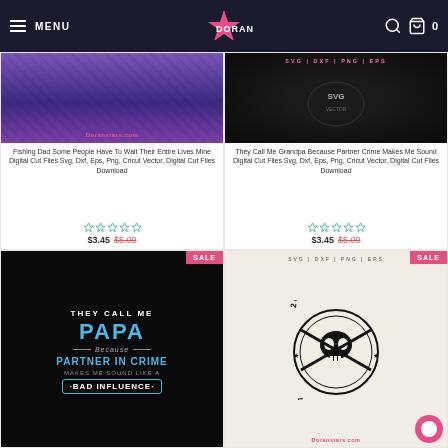MENU | DORAN | 0
[Figure (screenshot): Product thumbnail for Fishing Dad SVG - purple/dark gradient with Doranstars.com watermark]
Fishing Dad Some People Have To Wait Their Entire Lives Mine Digital Cut Files Svg, Dxf, Eps, Png, Cricut Vector, Digital Cut Files Download
$3.45 $5.00
[Figure (screenshot): Product thumbnail for Grandpa SVG - dark background with hexagonal pattern and pink text]
They Call Me Grandpa Because Partner Crime Makes Me Sound Digital Cut Files Svg, Dxf, Eps, Png, Cricut Vector, Digital Cut Files Download
$3.45 $5.00
[Figure (screenshot): They Call Me Papa Because Partner In Crime Makes Me Sound Like A Bad Influence - dark background with blue text, SALE badge]
[Figure (screenshot): 2nd Amendment Liberty Or Death skull graphic on light background, SALE badge, Doranstars.com watermark]